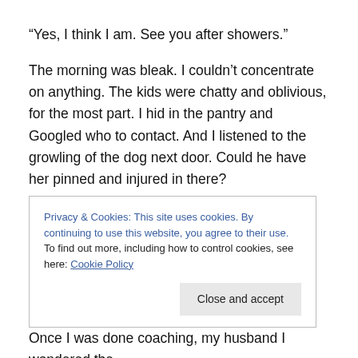“Yes, I think I am.  See you after showers.”
The morning was bleak.  I couldn’t concentrate on anything.  The kids were chatty and oblivious, for the most part.  I hid in the pantry and Googled who to contact.  And I listened to the growling of the dog next door.  Could he have her pinned and injured in there?
We got the kids off to school, I called the local council, dead inside, already knowing what they’d say.  No, she’d not been turned in.  Call this other number.  No and no
Privacy & Cookies: This site uses cookies. By continuing to use this website, you agree to their use.
To find out more, including how to control cookies, see here: Cookie Policy
Close and accept
Once I was done coaching, my husband I wandered the